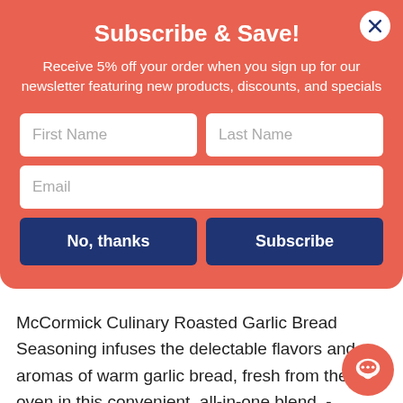Subscribe & Save!
Receive 5% off your order when you sign up for our newsletter featuring new products, discounts, and specials
First Name
Last Name
Email
No, thanks
Subscribe
McCormick Culinary Roasted Garlic Bread Seasoning infuses the delectable flavors and aromas of warm garlic bread, fresh from the oven in this convenient, all-in-one blend. - McCormick Culinary Roasted Garlic Bread Seasoning is made with no MSG added. - Our global sourcing enables unparalleled control and understanding of our supply chain, ensuring every product delivers a pure and consistent flavor. - There are 6/20 oz. plastic containers in a case. Our 20 oz.